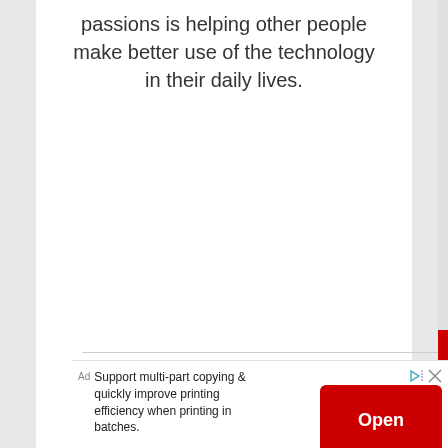passions is helping other people make better use of the technology in their daily lives.
Turbocharge Your Internet
Support multi-part copying & quickly improve printing efficiency when printing in batches.